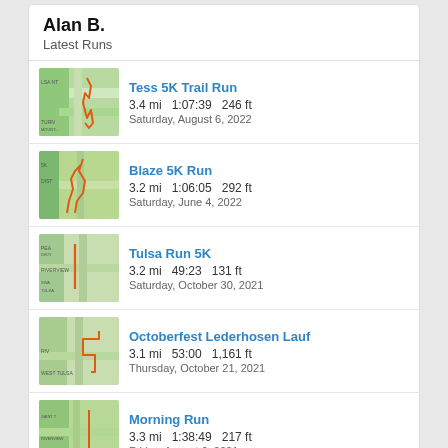Alan B.
Latest Runs
Tess 5K Trail Run
3.4 mi   1:07:39   246 ft
Saturday, August 6, 2022
Blaze 5K Run
3.2 mi   1:06:05   292 ft
Saturday, June 4, 2022
Tulsa Run 5K
3.2 mi   49:23   131 ft
Saturday, October 30, 2021
Octoberfest Lederhosen Lauf
3.1 mi   53:00   1,161 ft
Thursday, October 21, 2021
Morning Run
3.3 mi   1:38:49   217 ft
Friday, August 6, 2021
STRAVA
View all of Alan's activity »